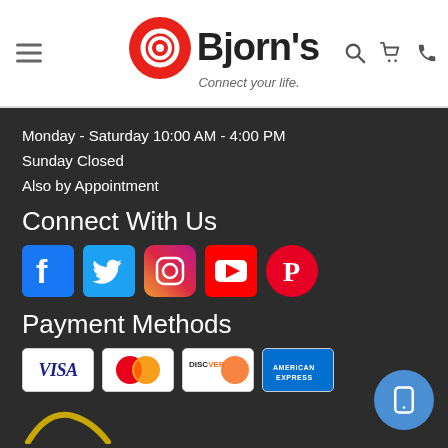[Figure (logo): Bjorn's logo with red spiral icon and text 'Bjorn's Connect your life.']
Monday - Saturday 10:00 AM - 4:00 PM
Sunday Closed
Also by Appointment
Connect With Us
[Figure (infographic): Social media icons: Facebook, Twitter, Instagram, YouTube, Pinterest]
Payment Methods
[Figure (infographic): Payment method logos: Visa, Mastercard, Discover, American Express]